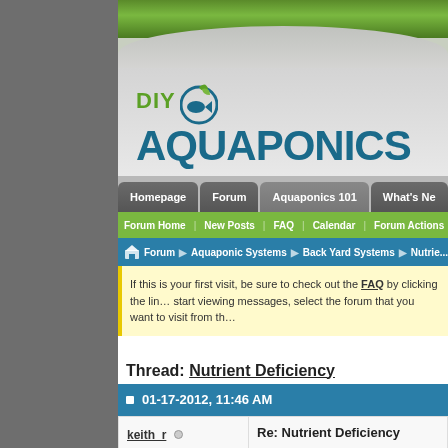[Figure (logo): DIY Aquaponics website logo with green DIY text and teal AQUAPONICS text with fish/leaf circle motif]
Homepage | Forum | Aquaponics 101 | What's Ne...
Forum Home | New Posts | FAQ | Calendar | Forum Actions | Quick Links
Forum > Aquaponic Systems > Back Yard Systems > Nutrie...
If this is your first visit, be sure to check out the FAQ by clicking the lin... start viewing messages, select the forum that you want to visit from th...
Thread: Nutrient Deficiency
01-17-2012, 11:46 AM
keith_r
Re: Nutrient Deficiency